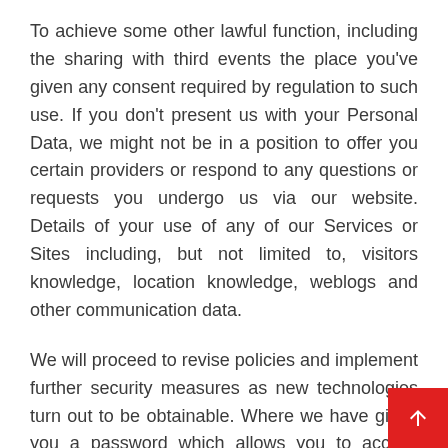To achieve some other lawful function, including the sharing with third events the place you've given any consent required by regulation to such use. If you don't present us with your Personal Data, we might not be in a position to offer you certain providers or respond to any questions or requests you undergo us via our website. Details of your use of any of our Services or Sites including, but not limited to, visitors knowledge, location knowledge, weblogs and other communication data.
We will proceed to revise policies and implement further security measures as new technologies turn out to be obtainable. Where we have given you a password which allows you to access certain elements of our methods or websites, you're liable for preserving that password confidential. We'll never ask for your secure personal or account information by an